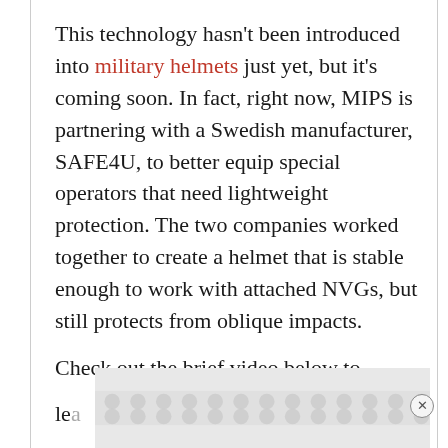This technology hasn't been introduced into military helmets just yet, but it's coming soon. In fact, right now, MIPS is partnering with a Swedish manufacturer, SAFE4U, to better equip special operators that need lightweight protection. The two companies worked together to create a helmet that is stable enough to work with attached NVGs, but still protects from oblique impacts.
Check out the brief video below to learn a little more about the multiple la...